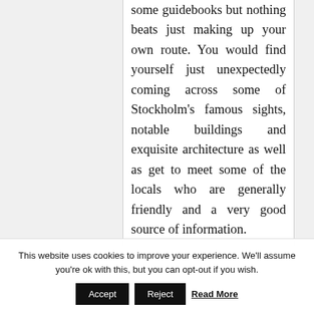some guidebooks but nothing beats just making up your own route. You would find yourself just unexpectedly coming across some of Stockholm's famous sights, notable buildings and exquisite architecture as well as get to meet some of the locals who are generally friendly and a very good source of information.
Go on a day trip or an excursion if
This website uses cookies to improve your experience. We'll assume you're ok with this, but you can opt-out if you wish.